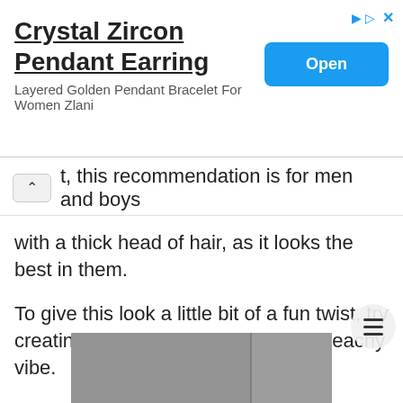[Figure (screenshot): Advertisement banner for Crystal Zircon Pendant Earring with Open button]
Crystal Zircon Pendant Earring
Layered Golden Pendant Bracelet For Women Zlani
t, this recommendation is for men and boys with a thick head of hair, as it looks the best in them.
To give this look a little bit of a fun twist, try creating some waves or curls for a beachy vibe.
[Figure (photo): Photo of a young Asian man with a short buzz cut hairstyle, wearing a dark top, posed with hand near chin against a grey background.]